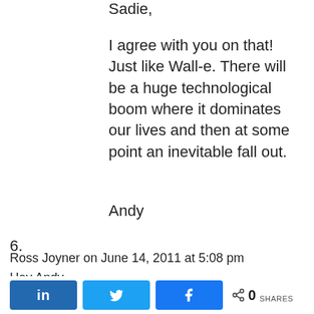Sadie,
I agree with you on that! Just like Wall-e. There will be a huge technological boom where it dominates our lives and then at some point an inevitable fall out.
Andy
6.
Ross Joyner on June 14, 2011 at 5:08 pm
Hey Andy
Linkedin is a Social Media that could use